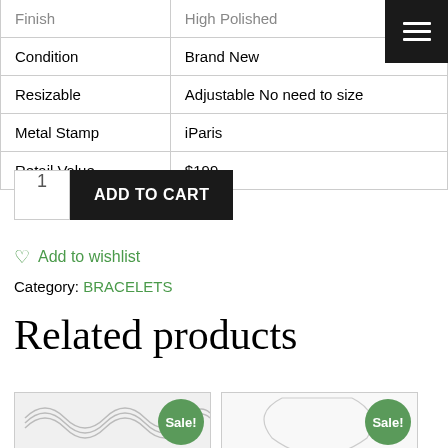| Finish | High Polished |
| Condition | Brand New |
| Resizable | Adjustable No need to size |
| Metal Stamp | iParis |
| Retail Value | $199 |
1  ADD TO CART
♡ Add to wishlist
Category: BRACELETS
Related products
[Figure (photo): Bracelet product thumbnail with Sale! badge]
[Figure (photo): Necklace product thumbnail with Sale! badge]